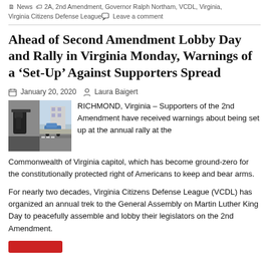News | 2A, 2nd Amendment, Governor Ralph Northam, VCDL, Virginia, Virginia Citizens Defense League | Leave a comment
Ahead of Second Amendment Lobby Day and Rally in Virginia Monday, Warnings of a ‘Set-Up’ Against Supporters Spread
January 20, 2020   Laura Baigert
[Figure (photo): Photo of a person with a holstered firearm on left, and a street/parking scene on the right]
RICHMOND, Virginia – Supporters of the 2nd Amendment have received warnings about being set up at the annual rally at the Commonwealth of Virginia capitol, which has become ground-zero for the constitutionally protected right of Americans to keep and bear arms.
For nearly two decades, Virginia Citizens Defense League (VCDL) has organized an annual trek to the General Assembly on Martin Luther King Day to peacefully assemble and lobby their legislators on the 2nd Amendment.